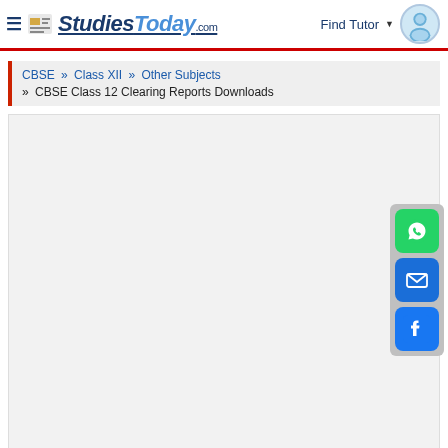StudiesToday.com — Find Tutor
CBSE » Class XII » Other Subjects » CBSE Class 12 Clearing Reports Downloads
[Figure (other): Large empty content/advertisement area with light gray background]
[Figure (other): Social sharing sidebar with WhatsApp (green), Email (blue), and Facebook (blue) buttons]